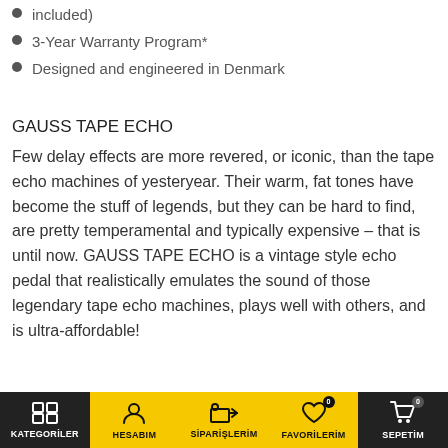included)
3-Year Warranty Program*
Designed and engineered in Denmark
GAUSS TAPE ECHO
Few delay effects are more revered, or iconic, than the tape echo machines of yesteryear. Their warm, fat tones have become the stuff of legends, but they can be hard to find, are pretty temperamental and typically expensive – that is until now. GAUSS TAPE ECHO is a vintage style echo pedal that realistically emulates the sound of those legendary tape echo machines, plays well with others, and is ultra-affordable!
KATEGORİLER | HESABIM | SİPARİŞLERİM | FAVORİLERİM 0 | SEPETİM 0